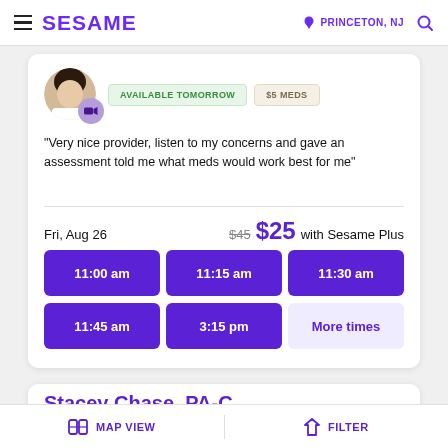SESAME | PRINCETON, NJ
"Very nice provider, listen to my concerns and gave an assessment told me what meds would work best for me"
Fri, Aug 26   $45  $25 with Sesame Plus
11:00 am
11:15 am
11:30 am
11:45 am
3:15 pm
More times
Stacey Chase, PA-C
Virtual UTI visit
MAP VIEW   FILTER